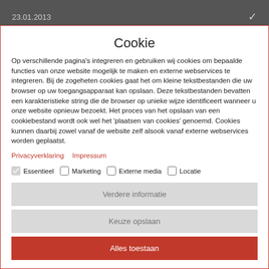23.01.2013
Cookie
Op verschillende pagina's integreren en gebruiken wij cookies om bepaalde functies van onze website mogelijk te maken en externe webservices te integreren. Bij de zogeheten cookies gaat het om kleine tekstbestanden die uw browser op uw toegangsapparaat kan opslaan. Deze tekstbestanden bevatten een karakteristieke string die de browser op unieke wijze identificeert wanneer u onze website opnieuw bezoekt. Het proces van het opslaan van een cookiebestand wordt ook wel het 'plaatsen van cookies' genoemd. Cookies kunnen daarbij zowel vanaf de website zelf alsook vanaf externe webservices worden geplaatst.
Privacyverklaring   Impressum
Essentieel
Marketing
Externe media
Locatie
Verdere informatie
Keuze opslaan
Alles toestaan